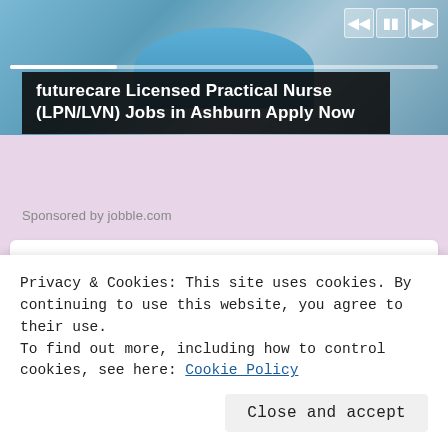[Figure (screenshot): Top portion of a video ad showing medical/nursing imagery with video player controls and progress bar]
futurecare Licensed Practical Nurse (LPN/LVN) Jobs in Ashburn Apply Now
Sponsored by jobble.com
[Figure (screenshot): Hearing Aid Advice advertisement card with logo and headline]
sponsored by Hearing Aid Advice
World Leading Provider in Hearing Aids. Check if you qualify for a no-risk trial today!
[Figure (photo): Two partially visible product or lifestyle images within the Hearing Aid Advice ad]
Privacy & Cookies: This site uses cookies. By continuing to use this website, you agree to their use.
To find out more, including how to control cookies, see here: Cookie Policy
Close and accept